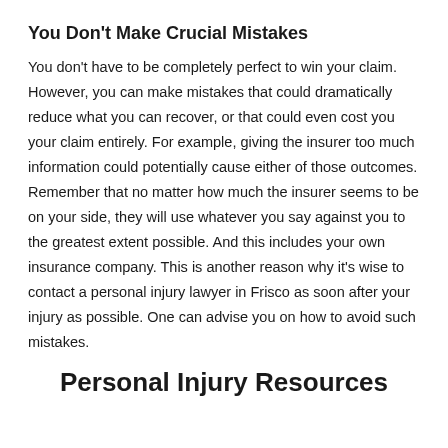You Don’t Make Crucial Mistakes
You don’t have to be completely perfect to win your claim. However, you can make mistakes that could dramatically reduce what you can recover, or that could even cost you your claim entirely. For example, giving the insurer too much information could potentially cause either of those outcomes. Remember that no matter how much the insurer seems to be on your side, they will use whatever you say against you to the greatest extent possible. And this includes your own insurance company. This is another reason why it’s wise to contact a personal injury lawyer in Frisco as soon after your injury as possible. One can advise you on how to avoid such mistakes.
Personal Injury Resources